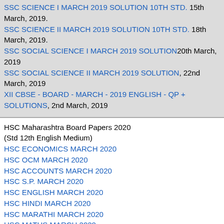SSC SCIENCE I MARCH 2019 SOLUTION 10TH STD. 15th March, 2019.
SSC SCIENCE II MARCH 2019 SOLUTION 10TH STD. 18th March, 2019.
SSC SOCIAL SCIENCE I MARCH 2019 SOLUTION 20th March, 2019
SSC SOCIAL SCIENCE II MARCH 2019 SOLUTION, 22nd March, 2019
XII CBSE - BOARD - MARCH - 2019 ENGLISH - QP + SOLUTIONS, 2nd March, 2019
HSC Maharashtra Board Papers 2020
(Std 12th English Medium)
HSC ECONOMICS MARCH 2020
HSC OCM MARCH 2020
HSC ACCOUNTS MARCH 2020
HSC S.P. MARCH 2020
HSC ENGLISH MARCH 2020
HSC HINDI MARCH 2020
HSC MARATHI MARCH 2020
HSC MATHS MARCH 2020